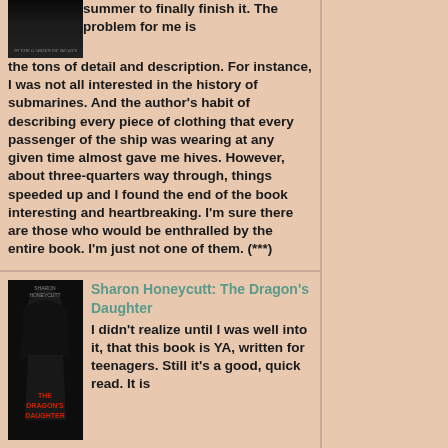[Figure (photo): Dark book cover image for a book (partial, top of page)]
summer to finally finish it. The problem for me is the tons of detail and description. For instance, I was not all interested in the history of submarines. And the author's habit of describing every piece of clothing that every passenger of the ship was wearing at any given time almost gave me hives. However, about three-quarters way through, things speeded up and I found the end of the book interesting and heartbreaking. I'm sure there are those who would be enthralled by the entire book. I'm just not one of them. (***)
[Figure (photo): Book cover for 'The Dragon's Daughter' by Sharon Honeycutt, dark cover with a hooded figure]
Sharon Honeycutt: The Dragon's Daughter
I didn't realize until I was well into it, that this book is YA, written for teenagers. Still it's a good, quick read. It is